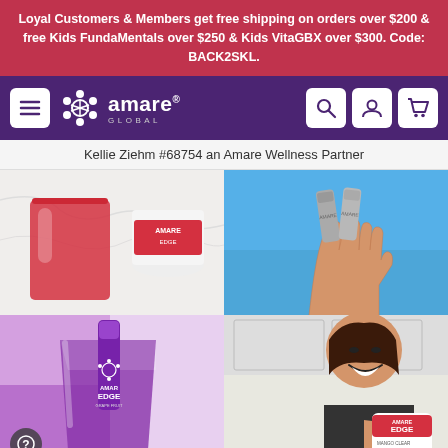Loyal Customers & Members get free shipping on orders over $200 & free Kids FundaMentals over $250 & Kids VitaGBX over $300. Code: BACK2SKL.
[Figure (screenshot): Amare Global website navigation bar with purple background, hamburger menu icon, Amare Global logo with molecular icon, and search/account/cart icons on the right]
Kellie Ziehm #68754 an Amare Wellness Partner
[Figure (photo): Top-left: Red drink in a glass next to an Amare product container on a marble surface]
[Figure (photo): Top-right: Hand holding two grey Amare product packets against a blue sky]
[Figure (photo): Bottom-left: Purple Amare EDGE drink mix packet next to a glass of purple drink on a purple/lavender background]
[Figure (photo): Bottom-right: Smiling woman holding an Amare EDGE product container (red label) in a kitchen setting]